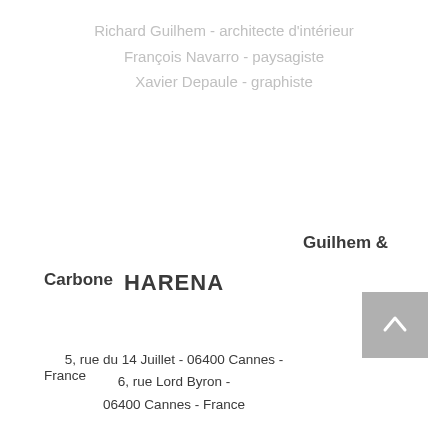Richard Guilhem - architecte d'intérieur
François Navarro - paysagiste
Xavier Depaule - graphiste
Guilhem &
Carbone
HARENA
5, rue du 14 Juillet - 06400 Cannes -
6, rue Lord Byron -
06400 Cannes - France
France